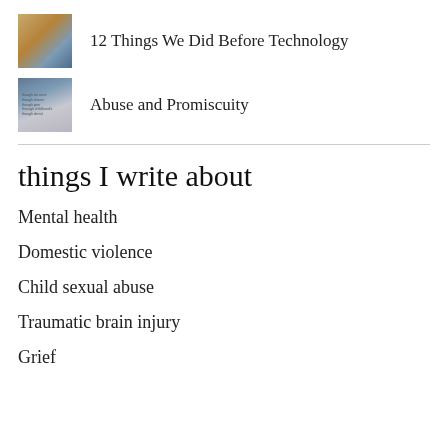[Figure (photo): Thumbnail image of a building with scaffolding or construction, warm tones]
12 Things We Did Before Technology
[Figure (photo): Thumbnail image with text overlay on a muted blue-gray background, possibly a book cover related to abuse]
Abuse and Promiscuity
things I write about
Mental health
Domestic violence
Child sexual abuse
Traumatic brain injury
Grief